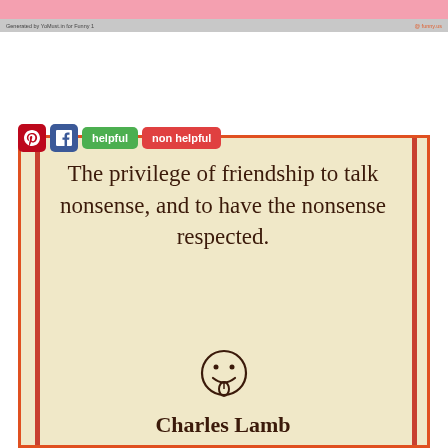[Figure (screenshot): Top banner area with pink background and gray bar with small text labels]
[Figure (infographic): Beige card with red border stripes containing a friendship quote by Charles Lamb with a smiley face illustration. Buttons for Pinterest, Facebook, helpful, and non helpful visible at top of card.]
The privilege of friendship to talk nonsense, and to have the nonsense respected.
Charles Lamb